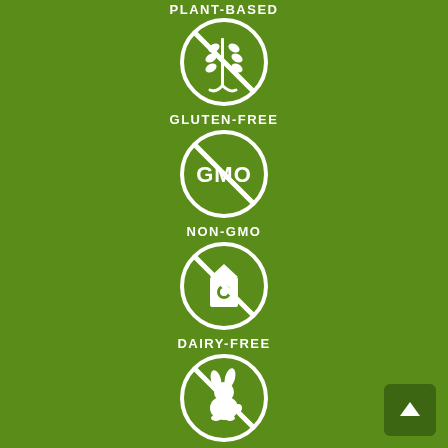PLANT-BASED
[Figure (illustration): Gluten-free icon: wheat crossed out in a circle]
GLUTEN-FREE
[Figure (illustration): Non-GMO icon: GMO text crossed out in a circle]
NON-GMO
[Figure (illustration): Dairy-free icon: milk carton crossed out in a circle]
DAIRY-FREE
[Figure (illustration): Cruelty-free icon: rabbit crossed out in a circle]
CRUELTY-FREE